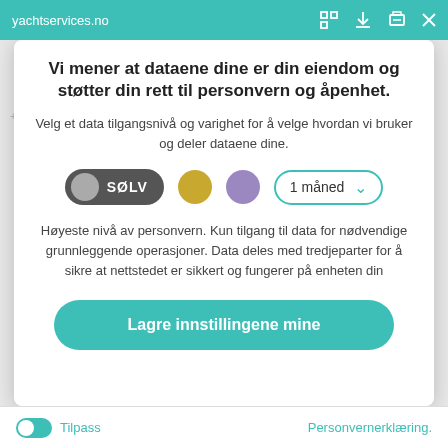yachtservices.no
Vi mener at dataene dine er din eiendom og støtter din rett til personvern og åpenhet.
Velg et data tilgangsnivå og varighet for å velge hvordan vi bruker og deler dataene dine.
[Figure (other): Privacy level selector with SØLV (silver) toggle active, gold dot, purple dot, and '1 måned' duration dropdown]
Høyeste nivå av personvern. Kun tilgang til data for nødvendige grunnleggende operasjoner. Data deles med tredjeparter for å sikre at nettstedet er sikkert og fungerer på enheten din
Lagre innstillingene mine
Tilpass    Personvernerklæring.